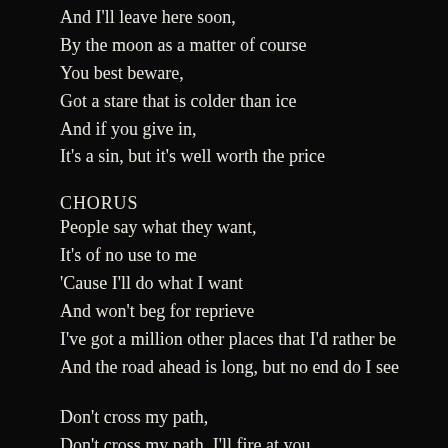And I'll leave here soon,
By the moon as a matter of course
You best beware,
Got a stare that is colder than ice
And if you give in,
It's a sin, but it's well worth the price
CHORUS
People say what they want,
It's of no use to me
'Cause I'll do what I want
And won't beg for reprieve
I've got a million other places that I'd rather be
And the road ahead is long, but no end do I see
Don't cross my path,
Don't cross my path, I'll fire at you